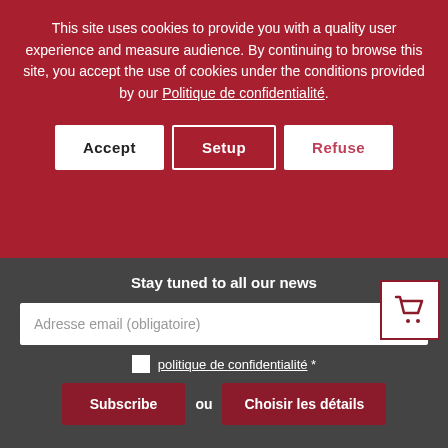This site uses cookies to provide you with a quality user experience and measure audience. By continuing to browse this site, you accept the use of cookies under the conditions provided by our Politique de confidentialité.
[Figure (screenshot): Cookie consent dialog with Accept, Setup, Refuse buttons on dark red background, overlaying a book cover for 'COMBAT' by Anne H. Tallec, with a newsletter signup footer]
Stay tuned to all our news
Adresse email (obligatoire)
politique de confidentialité *
Subscribe ou Choisir les détails